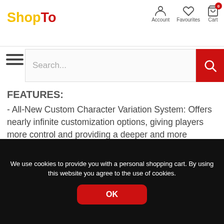ShopTo — Account, Favourites, Cart
FEATURES:
- All-New Custom Character Variation System: Offers nearly infinite customization options, giving players more control and providing a deeper and more personalized experience than ever before. Players can customize their fighters with a variety of Skins, Gear, Special Abilities, Intro and Victory Cinemas, Taunts and Brutalities that can be earned via gameplay.
- All-New Story Mode: Continue the epic saga through a
We use cookies to provide you with a personal shopping cart. By using this website you agree to the use of cookies.